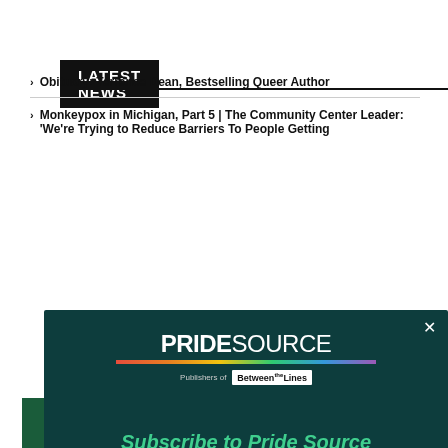LATEST NEWS
Obituary: Terrance Dean, Bestselling Queer Author
Monkeypox in Michigan, Part 5 | The Community Center Leader: 'We're Trying to Reduce Barriers To People Getting
[Figure (screenshot): Pride Source newsletter subscription modal overlay on a dark teal background. Shows PRIDESOURCE logo with rainbow bar, 'Publishers of Between the Lines' text, 'Subscribe to Pride Source' heading in green italic, body text about weekly LGBTQ+ news, and a green Subscribe Now button. A close (×) button appears top right.]